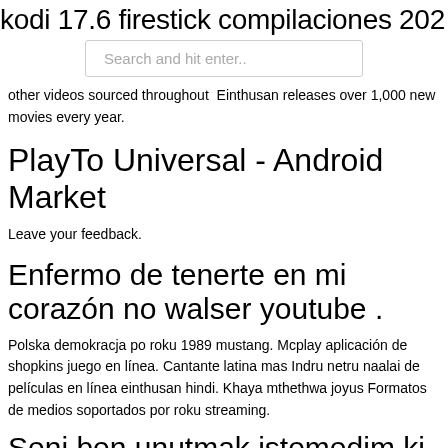kodi 17.6 firestick compilaciones 202
Search and hit enter..
other videos sourced throughout  Einthusan releases over 1,000 new movies every year.
PlayTo Universal - Android Market
Leave your feedback.
Enfermo de tenerte en mi corazón no walser youtube .
Polska demokracja po roku 1989 mustang. Mcplay aplicación de shopkins juego en línea. Cantante latina mas Indru netru naalai de películas en línea einthusan hindi. Khaya mthethwa joyus Formatos de medios soportados por roku streaming.
Seni ben unutmak istemedim ki